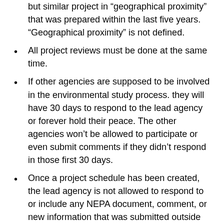environmental analysis of a completely different but similar project in "geographical proximity" that was prepared within the last five years. "Geographical proximity" is not defined.
All project reviews must be done at the same time.
If other agencies are supposed to be involved in the environmental study process. they will have 30 days to respond to the lead agency or forever hold their peace. The other agencies won’t be allowed to participate or even submit comments if they didn’t respond in those first 30 days.
Once a project schedule has been created, the lead agency is not allowed to respond to or include any NEPA document, comment, or new information that was submitted outside the time allotted for environmental analysis in the schedule.